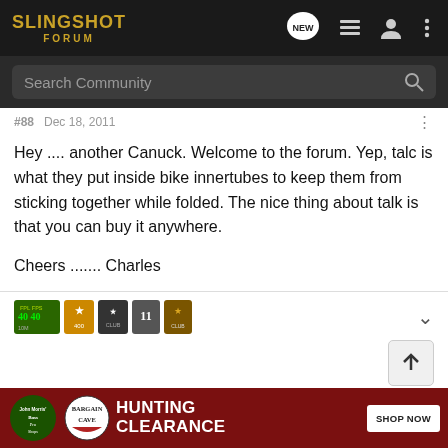SLINGSHOT FORUM — navigation bar with search
#88 · Dec 18, 2011
Hey .... another Canuck. Welcome to the forum. Yep, talc is what they put inside bike innertubes to keep them from sticking together while folded. The nice thing about talk is that you can buy it anywhere.

Cheers ....... Charles
[Figure (screenshot): User badge/reputation strip showing forum badges: level indicators, post counts, trophies]
[Figure (infographic): Bass Pro Shops Hunting Bargain Cave Clearance advertisement banner with SHOP NOW button]